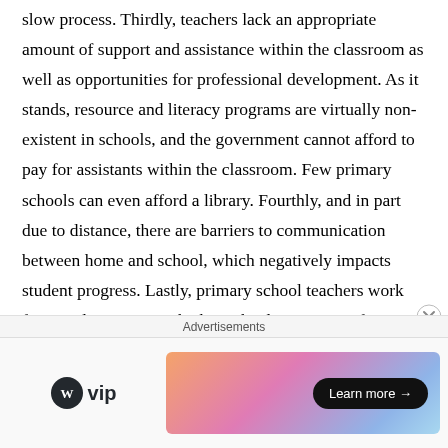slow process. Thirdly, teachers lack an appropriate amount of support and assistance within the classroom as well as opportunities for professional development. As it stands, resource and literacy programs are virtually non-existent in schools, and the government cannot afford to pay for assistants within the classroom. Few primary schools can even afford a library. Fourthly, and in part due to distance, there are barriers to communication between home and school, which negatively impacts student progress. Lastly, primary school teachers work for very low wages, which can be demotivating for some, ultimately affecting their professional pedagogical practice. For many teachers and students alike, school can be a truly sink or
Advertisements
[Figure (logo): WordPress VIP logo with circle icon and 'vip' text]
[Figure (other): Advertisement banner with gradient background (orange to pink to blue) and a 'Learn more →' button]